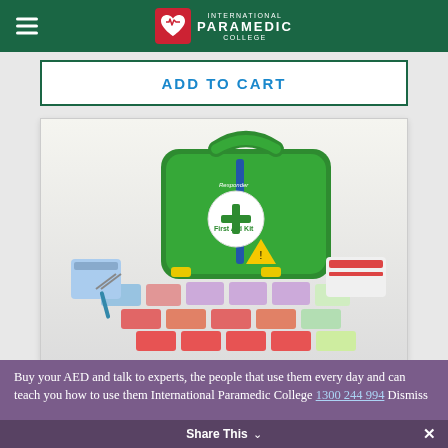International Paramedic College
ADD TO CART
[Figure (photo): Green Responder First Aid Kit case open, displaying a full spread of first aid supplies including bandages, dressings, plasters, scissors, and other medical supplies laid out in front of the kit box.]
Buy your AED and talk to experts, the people that use them every day and can teach you how to use them International Paramedic College 1300 244 994 Dismiss
Share This